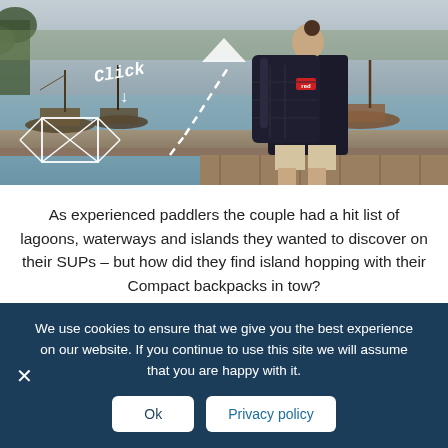[Figure (photo): A person standing with their back to the camera wearing a large black 'Red' branded backpack, looking out over a harbour with boats, docks, and water. White dashed arrow and handwritten 'Click' text with an envelope/diamond icon overlay on the left side.]
As experienced paddlers the couple had a hit list of lagoons, waterways and islands they wanted to discover on their SUPs – but how did they find island hopping with their Compact backpacks in tow?
We use cookies to ensure that we give you the best experience on our website. If you continue to use this site we will assume that you are happy with it.